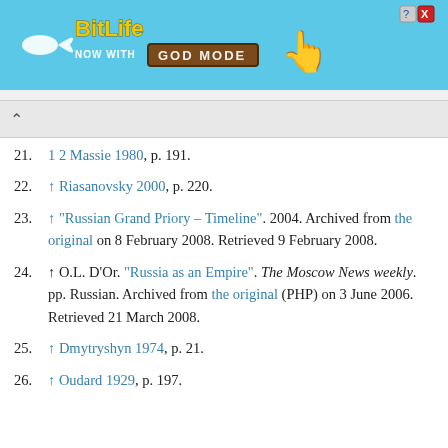[Figure (other): BitLife advertisement banner: 'NOW WITH GOD MODE' on blue background with hand pointing graphic and close button]
21. 1 2 Massie 1980, p. 191.
22. ↑ Riasanovsky 2000, p. 220.
23. ↑ "Russian Grand Priory – Timeline". 2004. Archived from the original on 8 February 2008. Retrieved 9 February 2008.
24. ↑ O.L. D'Or. "Russia as an Empire". The Moscow News weekly. pp. Russian. Archived from the original (PHP) on 3 June 2006. Retrieved 21 March 2008.
25. ↑ Dmytryshyn 1974, p. 21.
26. ↑ Oudard 1929, p. 197.